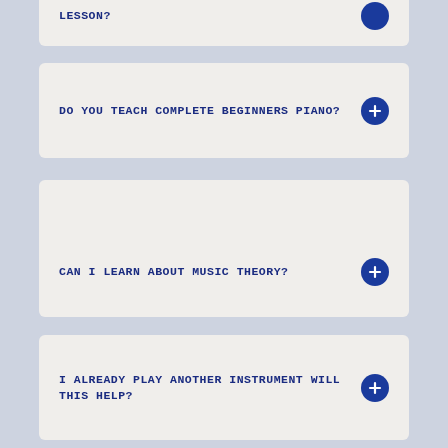LESSON?
DO YOU TEACH COMPLETE BEGINNERS PIANO?
HOW CAN I HELP MY CHILD TO PROGRESS MORE QUICKLY IN THEIR PIANO LESSONS?
CAN I LEARN ABOUT MUSIC THEORY?
I ALREADY PLAY ANOTHER INSTRUMENT WILL THIS HELP?
(partial card at bottom)